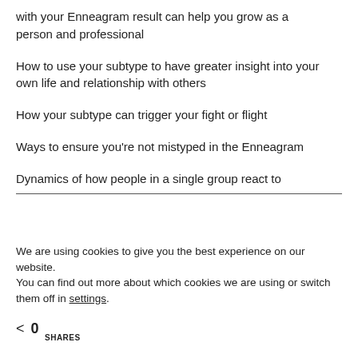with your Enneagram result can help you grow as a person and professional
How to use your subtype to have greater insight into your own life and relationship with others
How your subtype can trigger your fight or flight
Ways to ensure you're not mistyped in the Enneagram
Dynamics of how people in a single group react to
We are using cookies to give you the best experience on our website.
You can find out more about which cookies we are using or switch them off in settings.
0 SHARES